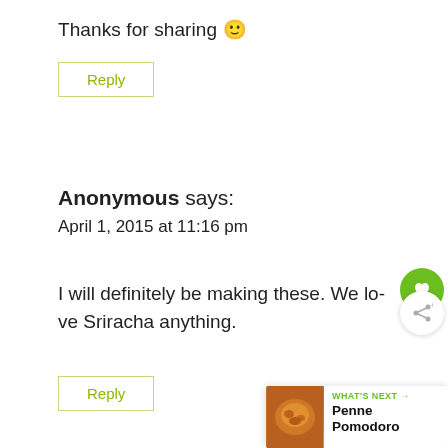Thanks for sharing 🙂
Reply
Anonymous says:
April 1, 2015 at 11:16 pm
I will definitely be making these. We love Sriracha anything.
Reply